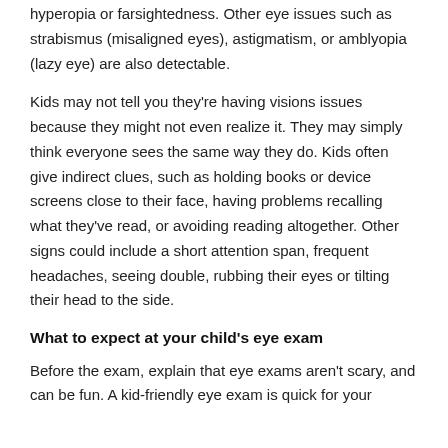hyperopia or farsightedness. Other eye issues such as strabismus (misaligned eyes), astigmatism, or amblyopia (lazy eye) are also detectable.
Kids may not tell you they're having visions issues because they might not even realize it. They may simply think everyone sees the same way they do. Kids often give indirect clues, such as holding books or device screens close to their face, having problems recalling what they've read, or avoiding reading altogether. Other signs could include a short attention span, frequent headaches, seeing double, rubbing their eyes or tilting their head to the side.
What to expect at your child's eye exam
Before the exam, explain that eye exams aren't scary, and can be fun. A kid-friendly eye exam is quick for your